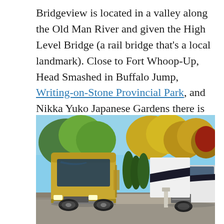Bridgeview is located in a valley along the Old Man River and given the High Level Bridge (a rail bridge that’s a local landmark). Close to Fort Whoop-Up, Head Smashed in Buffalo Jump, Writing-on-Stone Provincial Park, and Nikka Yuko Japanese Gardens there is lots to explore.
[Figure (photo): Two large RVs parked side by side at a campground. The left RV is gold/yellow, the right is white/black. Between and behind them are tall narrow evergreen shrubs. Trees with autumn foliage (yellow, green, red) fill the background under a blue sky.]